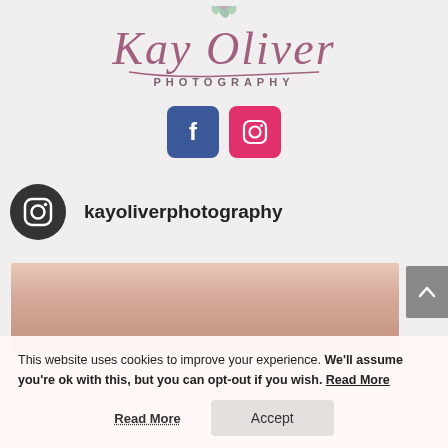[Figure (logo): Kay Oliver Photography script logo with decorative floral element]
[Figure (infographic): Facebook and Instagram social media icon buttons]
kayoliverphotography
[Figure (photo): Close-up photo of a newborn baby's face/head]
This website uses cookies to improve your experience. We'll assume you're ok with this, but you can opt-out if you wish. Read More  Accept